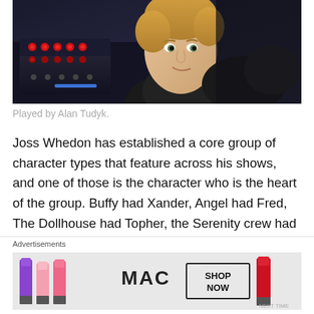[Figure (photo): A blonde man in a sleeveless top looking over his shoulder, seated in front of a control panel with red buttons and equipment, in a dark sci-fi cockpit setting.]
Played by Alan Tudyk.
Joss Whedon has established a core group of character types that feature across his shows, and one of those is the character who is the heart of the group. Buffy had Xander, Angel had Fred, The Dollhouse had Topher, the Serenity crew had Kaylee and the Serenity crew…also had Wash, who barely managed to squeeze Kaylee off
Advertisements
[Figure (photo): MAC Cosmetics advertisement banner showing colorful lipsticks in purple, pink, and red shades with the text SHOP NOW in a black bordered box and the MAC logo.]